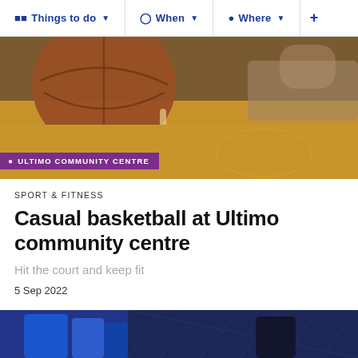Things to do  When  Where  +
[Figure (photo): Basketball court with a basketball in the foreground, blurred background showing wooden gym floor and crowd. Purple banner overlay reads: ULTIMO COMMUNITY CENTRE]
SPORT & FITNESS
Casual basketball at Ultimo community centre
Hit the court and keep fit
5 Sep 2022
[Figure (photo): Partial view of sports players in blue jerseys, bottom of page]